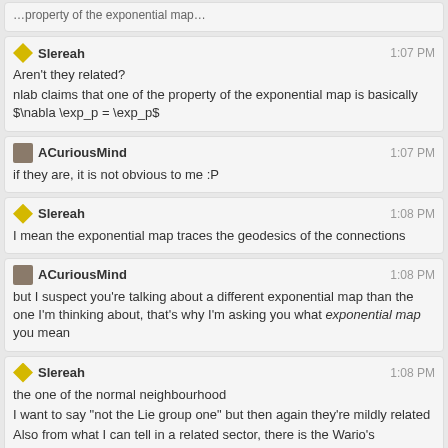[partial top message cut off]
Slereah 1:07 PM
Aren't they related?
nlab claims that one of the property of the exponential map is basically $\nabla \exp_p = \exp_p$
ACuriousMind 1:07 PM
if they are, it is not obvious to me :P
Slereah 1:08 PM
I mean the exponential map traces the geodesics of the connections
ACuriousMind 1:08 PM
but I suspect you're talking about a different exponential map than the one I'm thinking about, that's why I'm asking you what exponential map you mean
Slereah 1:08 PM
the one of the normal neighbourhood
I want to say "not the Lie group one" but then again they're mildly related
Also from what I can tell in a related sector, there is the Wario's equivalent evil twin of differential geometry called integral geometry
Which doesn't get discussed as much
ACuriousMind 1:12 PM
@Slereah Okay, so what's wrong with saying that $\mathrm{exp}$ is defined by $\nabla \mathrm{exp} = \mathrm{exp}$ and $\mathrm{exp}(0) = 1$?
Slereah 1:13 PM